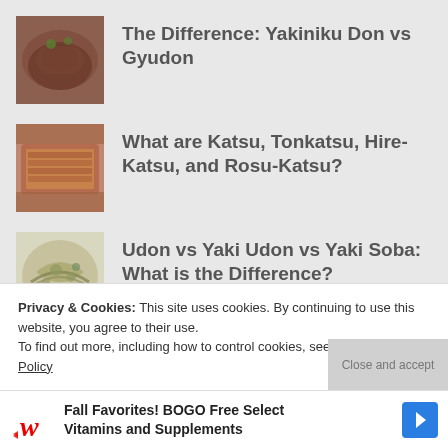The Difference: Yakiniku Don vs Gyudon
What are Katsu, Tonkatsu, Hire-Katsu, and Rosu-Katsu?
Udon vs Yaki Udon vs Yaki Soba: What is the Difference?
Suiiko vs Ikura: Salmon Roe in
Privacy & Cookies: This site uses cookies. By continuing to use this website, you agree to their use.
To find out more, including how to control cookies, see here: Cookie Policy
Fall Favorites! BOGO Free Select Vitamins and Supplements